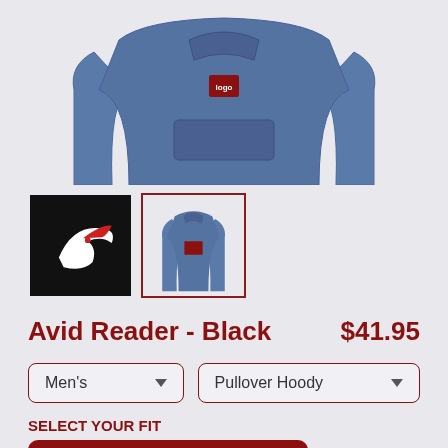[Figure (photo): Blue pullover hoodie product main image on light gray background]
[Figure (photo): Two product thumbnail images: first is black background with red bird logo (Avid Reader), second is blue pullover hoodie (currently selected, with red border)]
Avid Reader - Black   $41.95
Men's (dropdown) | Pullover Hoody (dropdown)
SELECT YOUR FIT
$41.95
French Terry